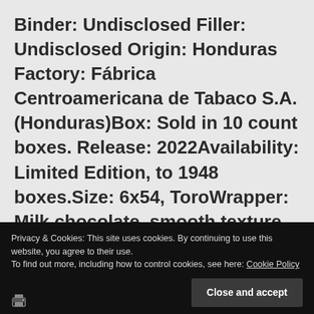Binder: Undisclosed Filler: Undisclosed Origin: Honduras Factory: Fábrica Centroamericana de Tabaco S.A. (Honduras)Box: Sold in 10 count boxes. Release: 2022Availability: Limited Edition, to 1948 boxes.Size: 6x54, ToroWrapper: Milk chocolate, smooth texture with tiny … Continue reading
Privacy & Cookies: This site uses cookies. By continuing to use this website, you agree to their use.
To find out more, including how to control cookies, see here: Cookie Policy